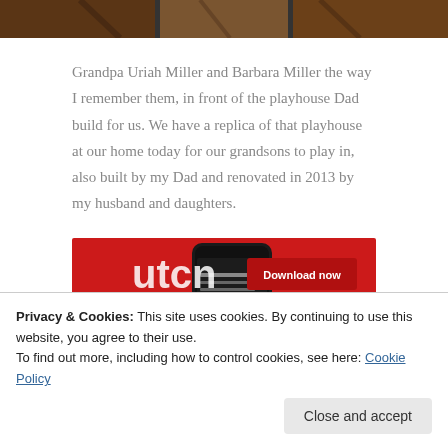[Figure (photo): Partial top of a photo showing what appears to be a playhouse or wooden structure, cropped at the top of the page.]
Grandpa Uriah Miller and Barbara Miller the way I remember them, in front of the playhouse Dad build for us. We have a replica of that playhouse at our home today for our grandsons to play in, also built by my Dad and renovated in 2013 by my husband and daughters.
[Figure (screenshot): Screenshot/advertisement showing a smartphone (dark phone with red case) on a red background with text 'Download now' button. A podcast or audio app is shown on the phone screen.]
Privacy & Cookies: This site uses cookies. By continuing to use this website, you agree to their use.
To find out more, including how to control cookies, see here: Cookie Policy
Close and accept